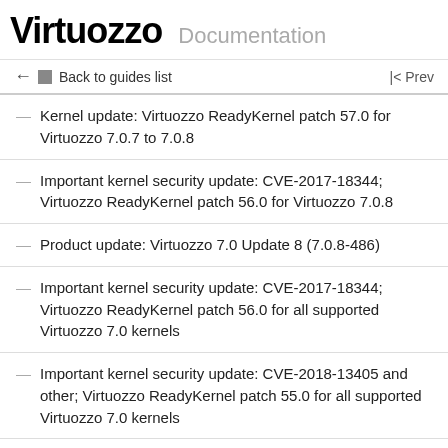Virtuozzo Documentation
← Back to guides list   |< Prev
Kernel update: Virtuozzo ReadyKernel patch 57.0 for Virtuozzo 7.0.7 to 7.0.8
Important kernel security update: CVE-2017-18344; Virtuozzo ReadyKernel patch 56.0 for Virtuozzo 7.0.8
Product update: Virtuozzo 7.0 Update 8 (7.0.8-486)
Important kernel security update: CVE-2017-18344; Virtuozzo ReadyKernel patch 56.0 for all supported Virtuozzo 7.0 kernels
Important kernel security update: CVE-2018-13405 and other; Virtuozzo ReadyKernel patch 55.0 for all supported Virtuozzo 7.0 kernels
Important kernel security update: CVE-2018-3639 (x86 AMD) and other issues; new kernel...